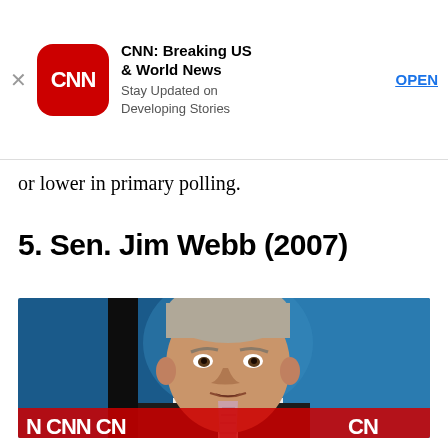[Figure (screenshot): CNN app advertisement banner with CNN logo icon, title 'CNN: Breaking US & World News', subtitle 'Stay Updated on Developing Stories', and OPEN button]
or lower in primary polling.
5. Sen. Jim Webb (2007)
[Figure (photo): Photo of Jim Webb at a CNN debate, wearing a dark suit and striped tie, with CNN logos visible in background]